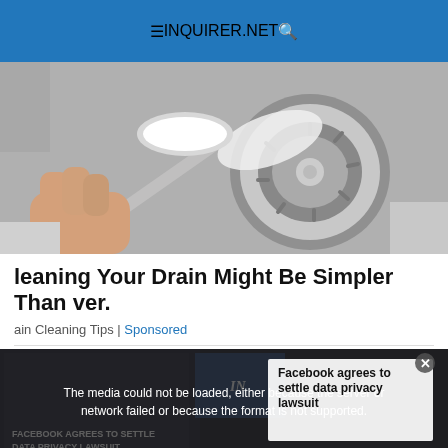INQUIRER.NET
[Figure (photo): Hand holding a spoon with white powder over a kitchen sink drain, top-down view]
leaning Your Drain Might Be Simpler Than ver.
ain Cleaning Tips | Sponsored
[Figure (screenshot): Video player showing Facebook agrees to settle data privacy lawsuit news, with error message: The media could not be loaded, either because the server or network failed or because the format is not supported. Lower left shows text FACEBOOK AGREES TO SETTLE DATA PRIVACY LAWSUIT. An X close button is at the bottom center.]